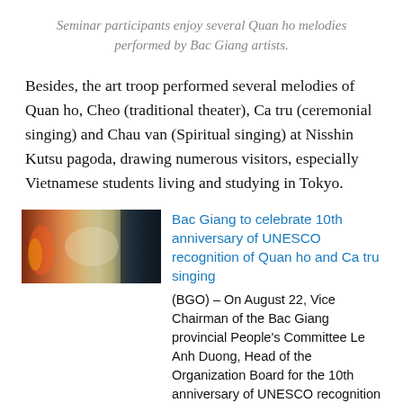Seminar participants enjoy several Quan ho melodies performed by Bac Giang artists.
Besides, the art troop performed several melodies of Quan ho, Cheo (traditional theater), Ca tru (ceremonial singing) and Chau van (Spiritual singing) at Nisshin Kutsu pagoda, drawing numerous visitors, especially Vietnamese students living and studying in Tokyo.
[Figure (photo): Thumbnail image for related article about Bac Giang UNESCO anniversary]
Bac Giang to celebrate 10th anniversary of UNESCO recognition of Quan ho and Ca tru singing (BGO) – On August 22, Vice Chairman of the Bac Giang provincial People's Committee Le Anh Duong, Head of the Organization Board for the 10th anniversary of UNESCO recognition of Quan ho (love duet singing) and Ca tru (ceremonial singing) and Ca tru (ceremonial